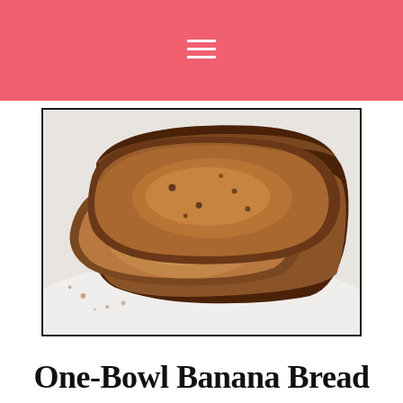Navigation menu icon (hamburger) on coral/salmon colored header bar
[Figure (photo): Close-up photo of sliced banana bread loaf on a white surface. The bread has a dark brown crust and a light brown interior with visible dark specks. Several slices are arranged in front of the loaf.]
One-Bowl Banana Bread